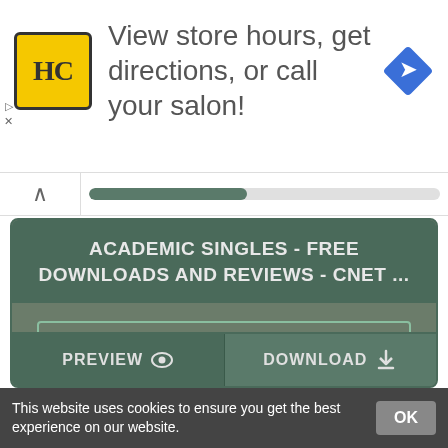[Figure (logo): HC (Hair Club) logo — yellow square with black HC text and black border]
View store hours, get directions, or call your salon!
[Figure (illustration): Blue diamond-shaped turn navigation icon]
▷  X
ACADEMIC SINGLES - FREE DOWNLOADS AND REVIEWS - CNET ...
https://download.cnet.com/s/academic-singles/
academic singles free download - Academic, Academic Plagiarism Checker, Academic Presenter, and many more programs
STATUS: ONLINE
PREVIEW
DOWNLOAD
This website uses cookies to ensure you get the best experience on our website.
OK